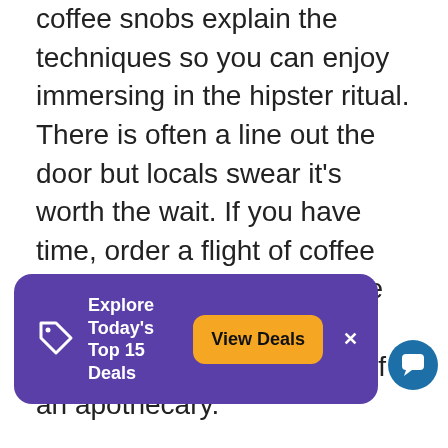coffee snobs explain the techniques so you can enjoy immersing in the hipster ritual. There is often a line out the door but locals swear it's worth the wait. If you have time, order a flight of coffee and a scone or slice of cake and settle into this long, narrow space reminiscent of an apothecary.

Want to hit the ground running on your first day in Vancouver? Grab a coffee and quick breakfast at Caffe Artigiano (740 W. Hastings ... ront Station (601 W. Cordova Street). Expect art on
[Figure (infographic): Purple banner overlay with tag icon, 'Explore Today's Top 15 Deals' text, orange 'View Deals' button, X close button, and blue chat bubble icon at right]